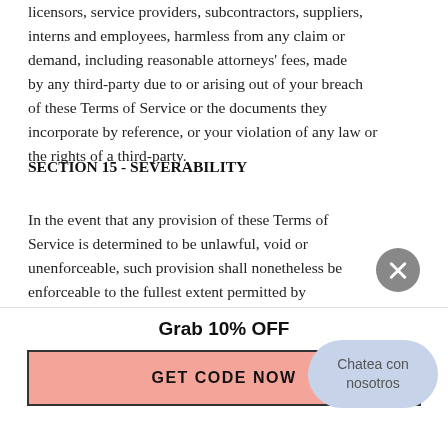licensors, service providers, subcontractors, suppliers, interns and employees, harmless from any claim or demand, including reasonable attorneys' fees, made by any third-party due to or arising out of your breach of these Terms of Service or the documents they incorporate by reference, or your violation of any law or the rights of a third-party.
SECTION 15 - SEVERABILITY
In the event that any provision of these Terms of Service is determined to be unlawful, void or unenforceable, such provision shall nonetheless be enforceable to the fullest extent permitted by applicable law, and the unenforceable portion shall be
Grab 10% OFF
GET CODE NOW
Chatea con nosotros